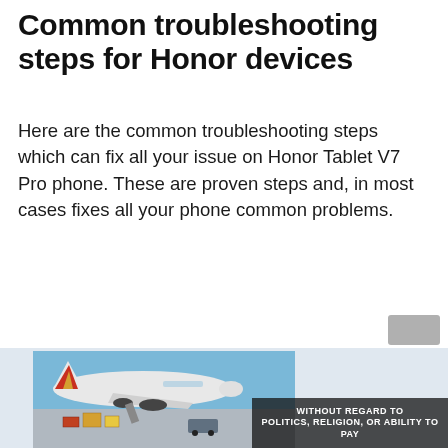Common troubleshooting steps for Honor devices
Here are the common troubleshooting steps which can fix all your issue on Honor Tablet V7 Pro phone. These are proven steps and, in most cases fixes all your phone common problems.
[Figure (photo): Advertisement banner showing an airplane being loaded with cargo, with a dark overlay text reading 'WITHOUT REGARD TO POLITICS, RELIGION, OR ABILITY TO PAY']